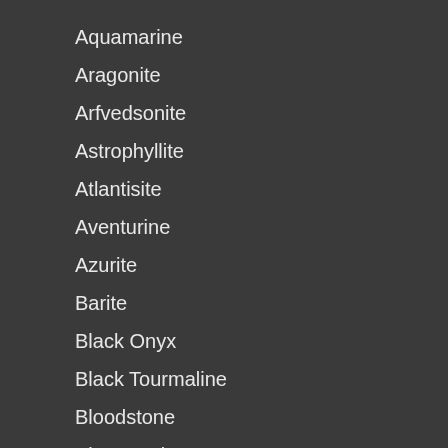Aquamarine
Aragonite
Arfvedsonite
Astrophyllite
Atlantisite
Aventurine
Azurite
Barite
Black Onyx
Black Tourmaline
Bloodstone
Blue Apatite
Blue Chalcedony
Botswana Agate
Bronzite